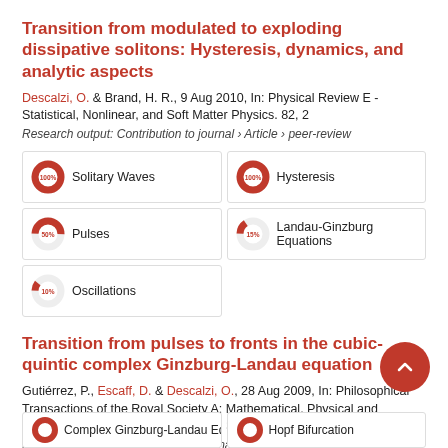Transition from modulated to exploding dissipative solitons: Hysteresis, dynamics, and analytic aspects
Descalzi, O. & Brand, H. R., 9 Aug 2010, In: Physical Review E - Statistical, Nonlinear, and Soft Matter Physics. 82, 2
Research output: Contribution to journal › Article › peer-review
[Figure (infographic): Fingerprint keyword bubbles: Solitary Waves 100%, Hysteresis 100%, Pulses ~50%, Landau-Ginzburg Equations ~15%, Oscillations ~10%]
Transition from pulses to fronts in the cubic-quintic complex Ginzburg-Landau equation
Gutiérrez, P., Escaff, D. & Descalzi, O., 28 Aug 2009, In: Philosophical Transactions of the Royal Society A: Mathematical, Physical and Engineering Sciences. 367, 1901, p. 3227-3238 12 p.
Research output: Contribution to journal › Article › peer-review
[Figure (infographic): Fingerprint keyword bubbles (partially visible): Complex Ginzburg-Landau Equ... 100%, Hopf Bifurcation 100%]